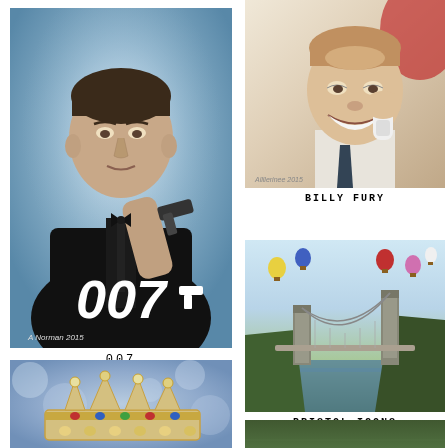[Figure (illustration): Painted portrait of James Bond character (Sean Connery) in tuxedo holding a gun, with 007 logo text at bottom, blue-gray atmospheric background]
007
[Figure (illustration): Portrait illustration of Billy Fury smiling, holding a telephone receiver, wearing a suit and tie]
BILLY FURY
[Figure (illustration): Painting of Clifton Suspension Bridge in Bristol with hot air balloons in the sky]
BRISTOL ICONS
[Figure (illustration): Partial view of a decorative crown on blue bokeh background]
[Figure (illustration): Partial view of a green textured surface/field]